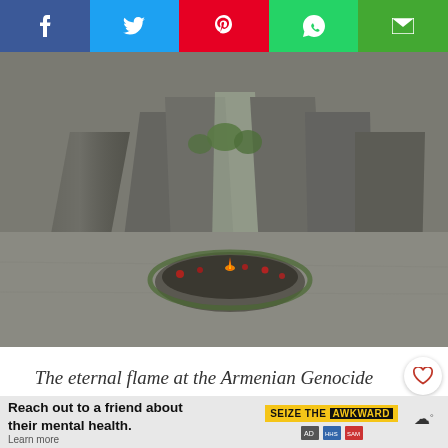[Figure (other): Row of five social share buttons: Facebook (blue), Twitter (light blue), Pinterest (red), WhatsApp (green), Email (green)]
[Figure (photo): Photograph of the eternal flame at the Armenian Genocide Memorial — large concrete monolithic slabs arranged in a circle, with a central eternal flame surrounded by flowers against a grey stone floor.]
The eternal flame at the Armenian Genocide Memorial
[Figure (other): Heart (favorite) button and share button floating on the right side]
Th...e to.
[Figure (other): Advertisement banner: Reach out to a friend about their mental health. Learn more. SEIZE THE AWKWARD badge with ad icons.]